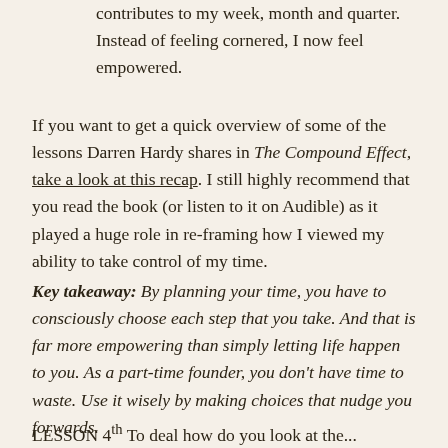contributes to my week, month and quarter. Instead of feeling cornered, I now feel empowered.
If you want to get a quick overview of some of the lessons Darren Hardy shares in The Compound Effect, take a look at this recap. I still highly recommend that you read the book (or listen to it on Audible) as it played a huge role in re-framing how I viewed my ability to take control of my time.
Key takeaway: By planning your time, you have to consciously choose each step that you take. And that is far more empowering than simply letting life happen to you. As a part-time founder, you don't have time to waste. Use it wisely by making choices that nudge you forwards.
LESSON 4...